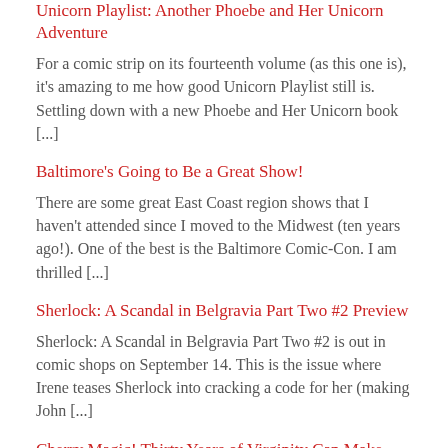Unicorn Playlist: Another Phoebe and Her Unicorn Adventure
For a comic strip on its fourteenth volume (as this one is), it's amazing to me how good Unicorn Playlist still is. Settling down with a new Phoebe and Her Unicorn book [...]
Baltimore's Going to Be a Great Show!
There are some great East Coast region shows that I haven't attended since I moved to the Midwest (ten years ago!). One of the best is the Baltimore Comic-Con. I am thrilled [...]
Sherlock: A Scandal in Belgravia Part Two #2 Preview
Sherlock: A Scandal in Belgravia Part Two #2 is out in comic shops on September 14. This is the issue where Irene teases Sherlock into cracking a code for her (making John [...]
Cherry Magic! Thirty Years of Virginity Can Make You